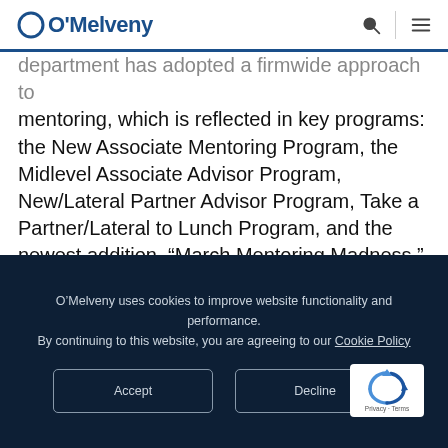O'Melveny
department has adopted a firmwide approach to mentoring, which is reflected in key programs: the New Associate Mentoring Program, the Midlevel Associate Advisor Program, New/Lateral Partner Advisor Program, Take a Partner/Lateral to Lunch Program, and the newest addition, “March Mentoring Madness.” O’Melveny’s mentoring programs also were recently awarded the “Best
O’Melveny uses cookies to improve website functionality and performance. By continuing to this website, you are agreeing to our Cookie Policy
Accept
Decline